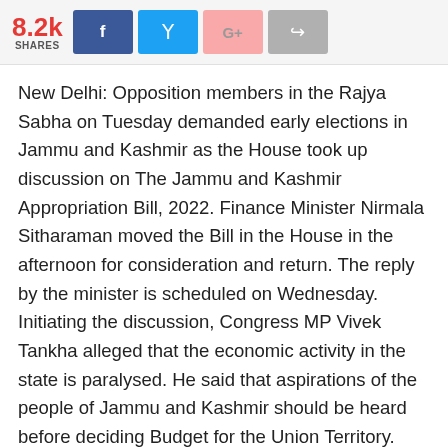8.2k SHARES [Facebook] [Twitter] [Google+] [Share]
New Delhi: Opposition members in the Rajya Sabha on Tuesday demanded early elections in Jammu and Kashmir as the House took up discussion on The Jammu and Kashmir Appropriation Bill, 2022. Finance Minister Nirmala Sitharaman moved the Bill in the House in the afternoon for consideration and return. The reply by the minister is scheduled on Wednesday. Initiating the discussion, Congress MP Vivek Tankha alleged that the economic activity in the state is paralysed. He said that aspirations of the people of Jammu and Kashmir should be heard before deciding Budget for the Union Territory. “The budget doesn’t reflect the pain and agony of the people of J&K. The allocation has declined in various sectors including health and power,” he said. There is a complete administrative paralysis, Tankha added. He said